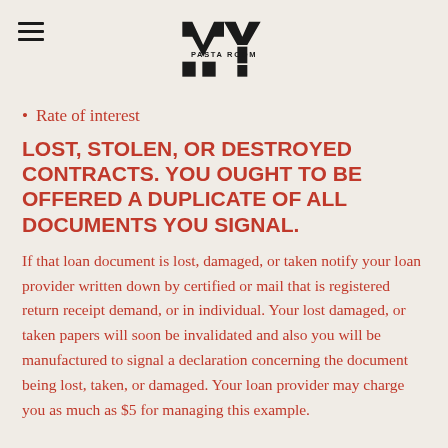[Figure (logo): MY Pasta Room logo — stylized black MY letters with 'PASTA ROOM' text below]
Rate of interest
LOST, STOLEN, OR DESTROYED CONTRACTS. YOU OUGHT TO BE OFFERED A DUPLICATE OF ALL DOCUMENTS YOU SIGNAL.
If that loan document is lost, damaged, or taken notify your loan provider written down by certified or mail that is registered return receipt demand, or in individual. Your lost damaged, or taken papers will soon be invalidated and also you will be manufactured to signal a declaration concerning the document being lost, taken, or damaged. Your loan provider may charge you as much as $5 for managing this example.